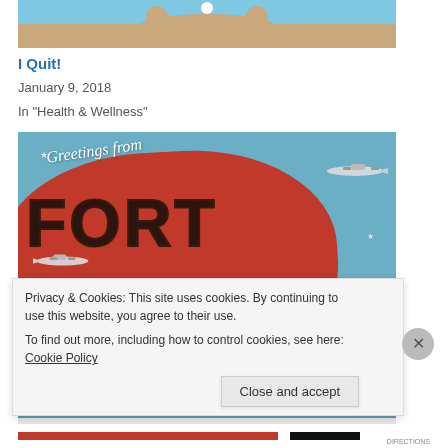[Figure (photo): Top portion of a stuffed bear toy against a blue sky and sandy beach background, cropped at the top of the page]
I Quit!
January 9, 2018
In "Health & Wellness"
[Figure (photo): Vintage postcard reading 'Greetings from Fort McClellan' with illustrated letters containing scenes of the fort, airplanes, and red heart shape background]
Privacy & Cookies: This site uses cookies. By continuing to use this website, you agree to their use.
To find out more, including how to control cookies, see here: Cookie Policy
Close and accept